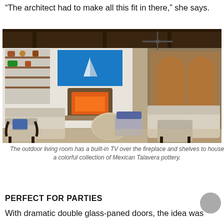“The architect had to make all this fit in there,” she says.
[Figure (photo): Outdoor living room with built-in TV over a fireplace, shelves with Mexican Talavera pottery, ornate metal patio furniture with cushions, a ceiling fan, and large arched glass doors leading inside.]
The outdoor living room has a built-in TV over the fireplace and shelves to house a colorful collection of Mexican Talavera pottery.
PERFECT FOR PARTIES
With dramatic double glass-paned doors, the idea was